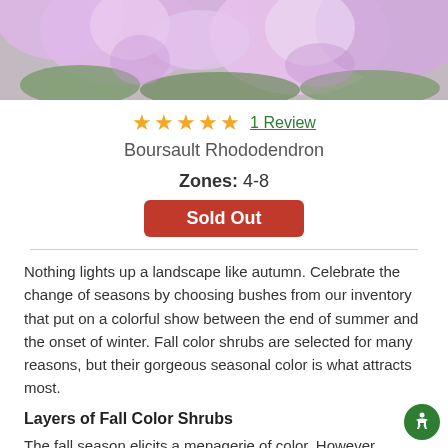[Figure (photo): Close-up photo of light pink/lavender rhododendron flowers with green leaves in background]
★★★★★ 1 Review
Boursault Rhododendron
Zones: 4-8
Sold Out
Nothing lights up a landscape like autumn. Celebrate the change of seasons by choosing bushes from our inventory that put on a colorful show between the end of summer and the onset of winter. Fall color shrubs are selected for many reasons, but their gorgeous seasonal color is what attracts most.
Layers of Fall Color Shrubs
The fall season elicits a menagerie of color. However,